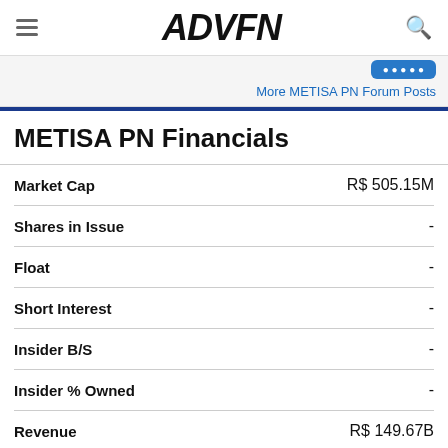ADVFN
More METISA PN Forum Posts
METISA PN Financials
| Field | Value |
| --- | --- |
| Market Cap | R$ 505.15M |
| Shares in Issue | - |
| Float | - |
| Short Interest | - |
| Insider B/S | - |
| Insider % Owned | - |
| Revenue | R$ 149.67B |
| Profit/Loss | R$ 15.03B |